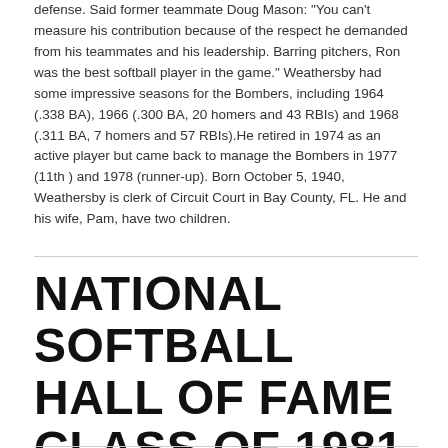defense. Said former teammate Doug Mason: "You can't measure his contribution because of the respect he demanded from his teammates and his leadership. Barring pitchers, Ron was the best softball player in the game." Weathersby had some impressive seasons for the Bombers, including 1964 (.338 BA), 1966 (.300 BA, 20 homers and 43 RBIs) and 1968 (.311 BA, 7 homers and 57 RBIs).He retired in 1974 as an active player but came back to manage the Bombers in 1977 (11th ) and 1978 (runner-up). Born October 5, 1940, Weathersby is clerk of Circuit Court in Bay County, FL. He and his wife, Pam, have two children.
NATIONAL SOFTBALL HALL OF FAME CLASS OF 1981